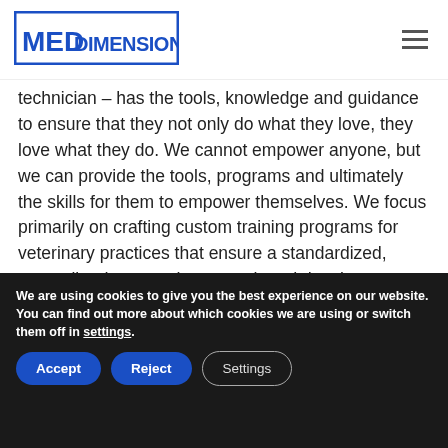MED DIMENSIONS
technician – has the tools, knowledge and guidance to ensure that they not only do what they love, they love what they do. We cannot empower anyone, but we can provide the tools, programs and ultimately the skills for them to empower themselves. We focus primarily on crafting custom training programs for veterinary practices that ensure a standardized, streamlined approach to growth and development so that team members have a clear understanding of what they can do and how they can do it. This not only supports the individuals, but the practice,
We are using cookies to give you the best experience on our website.
You can find out more about which cookies we are using or switch them off in settings.
Accept | Reject | Settings